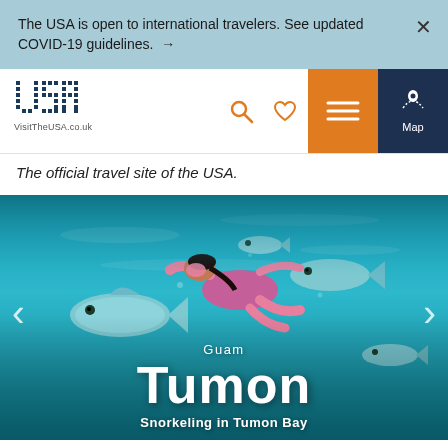The USA is open to international travelers. See updated COVID-19 guidelines. →
[Figure (logo): VisitTheUSA.co.uk logo with dot-matrix style USA text and VisitTheUSA.co.uk label below]
The official travel site of the USA.
[Figure (photo): Underwater snorkeling scene in Tumon Bay, Guam. A person in a pink swimsuit and snorkel mask swims among tropical fish in turquoise water. Overlaid text reads: Guam / Tumon / Snorkeling in Tumon Bay]